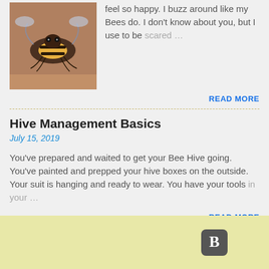[Figure (photo): Close-up photo of a bee on a surface]
feel so happy.  I buzz around like my Bees do. I don't know about you, but I use to be scared …
READ MORE
Hive Management Basics
July 15, 2019
You've prepared and waited to get your Bee Hive going. You've painted and prepped your hive boxes on the outside. Your suit is hanging and ready to wear.  You have your tools in your …
READ MORE
[Figure (logo): Blogger 'B' icon in a dark rounded square]